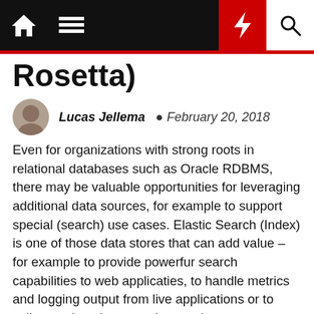Navigation bar with home, menu, bolt, and search icons
Rosetta)
Lucas Jellema  February 20, 2018
Even for organizations with strong roots in relational databases such as Oracle RDBMS, there may be valuable opportunities for leveraging additional data sources, for example to support special (search) use cases. Elastic Search (Index) is one of those data stores that can add value – for example to provide powerfur search capabilities to web applicaties, to handle metrics and logging output from live applications or to collect and analyze any data set in your landacape. The Elastic Stack also consists of Kibana (visualizations/dashboards), Log Stash & Beats (gathering data, for example through harvesting log files).